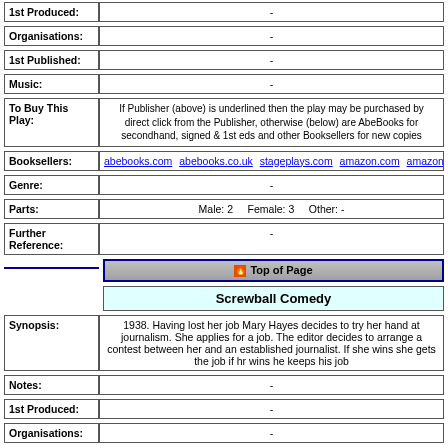| Field | Value |
| --- | --- |
| 1st Produced: | - |
| Organisations: | - |
| 1st Published: | - |
| Music: | - |
| To Buy This Play: | If Publisher (above) is underlined then the play may be purchased by direct click from the Publisher, otherwise (below) are AbeBooks for secondhand, signed & 1st eds and other Booksellers for new copies |
| Booksellers: | abebooks.com  abebooks.co.uk  stageplays.com  amazon.com  amazon.co.uk  am... |
| Genre: | - |
| Parts: | Male: 2   Female: 3   Other: - |
| Further Reference: | - |
Top of Page
Screwball Comedy
| Field | Value |
| --- | --- |
| Synopsis: | 1938. Having lost her job Mary Hayes decides to try her hand at journalism. She applies for a job. The editor decides to arrange a contest between her and an established journalist. If she wins she gets the job if hr wins he keeps his job |
| Notes: | - |
| 1st Produced: | - |
| Organisations: | - |